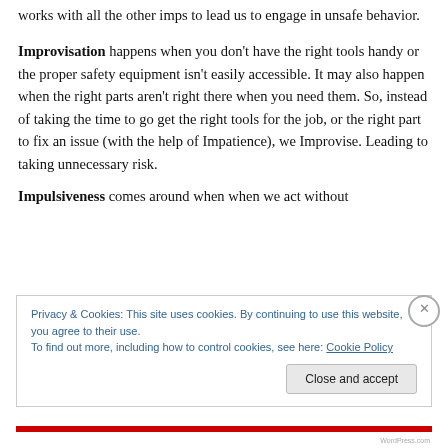works with all the other imps to lead us to engage in unsafe behavior.
Improvisation happens when you don't have the right tools handy or the proper safety equipment isn't easily accessible. It may also happen when the right parts aren't right there when you need them. So, instead of taking the time to go get the right tools for the job, or the right part to fix an issue (with the help of Impatience), we Improvise. Leading to taking unnecessary risk.
Impulsiveness comes around when when we act without
Privacy & Cookies: This site uses cookies. By continuing to use this website, you agree to their use.
To find out more, including how to control cookies, see here: Cookie Policy
Close and accept